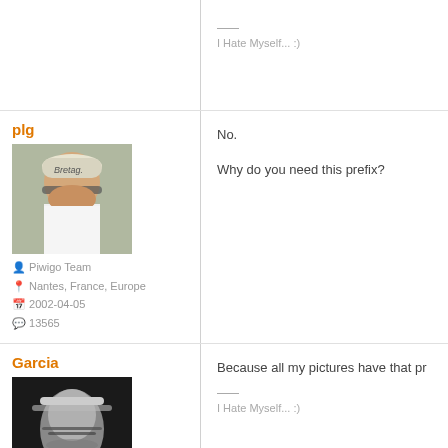I Hate Myself... :)
plg
[Figure (photo): Profile photo of plg: man wearing a white Bretagne cap and sunglasses outdoors]
Piwigo Team
Nantes, France, Europe
2002-04-05
13565
No.

Why do you need this prefix?
Garcia
[Figure (photo): Profile photo of Garcia: black and white photo of a person with long hair covering part of face]
Because all my pictures have that pr
I Hate Myself... :)